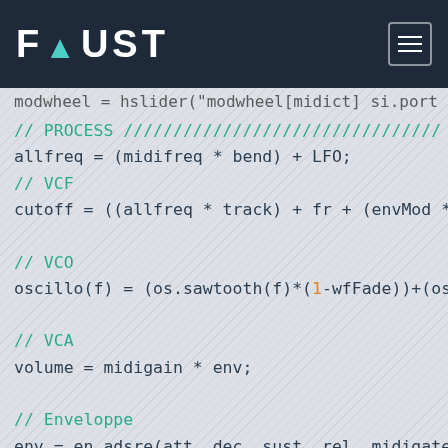FAUST
allfreq = (midifreq * bend) + LFO;
// VCF
cutoff = ((allfreq * track) + fr + (envMod * m

// VCO
oscillo(f) = (os.sawtooth(f)*(1-wfFade))+(os.s

// VCA
volume = midigain * env;

// Enveloppe
env = en.adsre(att, dec, sust, rel, midigate);

// LFO
LFO = os.lf_triangle(lfoFreq)*modwheel*10;

// SYNTH ////////////////////////////
synth = (oscillo(allfreq) : ve.moog_vcf(res,cu